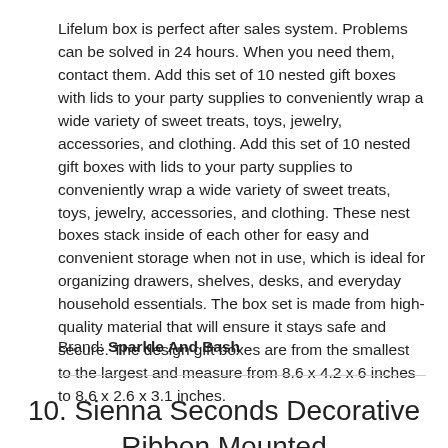Lifelum box is perfect after sales system. Problems can be solved in 24 hours. When you need them, contact them. Add this set of 10 nested gift boxes with lids to your party supplies to conveniently wrap a wide variety of sweet treats, toys, jewelry, accessories, and clothing. Add this set of 10 nested gift boxes with lids to your party supplies to conveniently wrap a wide variety of sweet treats, toys, jewelry, accessories, and clothing. These nest boxes stack inside of each other for easy and convenient storage when not in use, which is ideal for organizing drawers, shelves, desks, and everyday household essentials. The box set is made from high-quality material that will ensure it stays safe and secure. The design gift boxes are from the smallest to the largest and measure from 8.6 x 4.2 x 6 inches to 8.6 x 2.6 x 3.1 inches.
Brand: Sparkle And Bash
10. Sienna Seconds Decorative Ribbon Mounted...